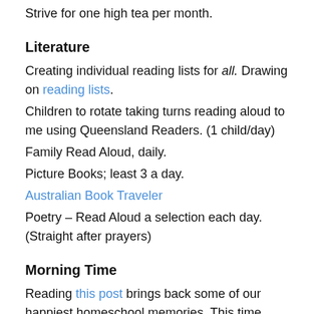Strive for one high tea per month.
Literature
Creating individual reading lists for all. Drawing on reading lists.
Children to rotate taking turns reading aloud to me using Queensland Readers. (1 child/day)
Family Read Aloud, daily.
Picture Books; least 3 a day.
Australian Book Traveler
Poetry – Read Aloud a selection each day. (Straight after prayers)
Morning Time
Reading this post brings back some of our happiest homeschool memories. This time nurtured us so